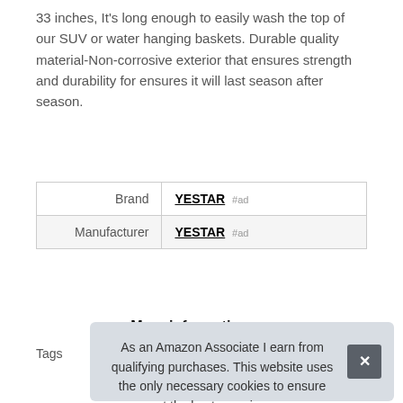33 inches, It's long enough to easily wash the top of our SUV or water hanging baskets. Durable quality material-Non-corrosive exterior that ensures strength and durability for ensures it will last season after season.
| Brand | YESTAR #ad |
| Manufacturer | YESTAR #ad |
More information #ad
Tags
As an Amazon Associate I earn from qualifying purchases. This website uses the only necessary cookies to ensure you get the best experience on our website. More information